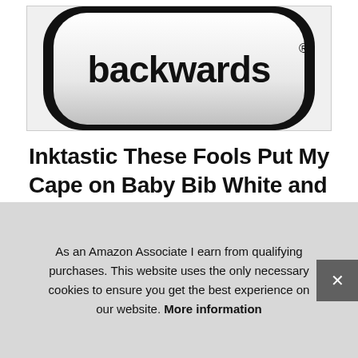[Figure (photo): Partial product image of a baby bib with 'backwards' text visible, black border on white/silver bib, shown cropped at top of page]
Inktastic These Fools Put My Cape on Baby Bib White and Black 10a80
#ad
inktastic #ad - Created with only the finest and softest of mat... com... be w... crac...
As an Amazon Associate I earn from qualifying purchases. This website uses the only necessary cookies to ensure you get the best experience on our website. More information